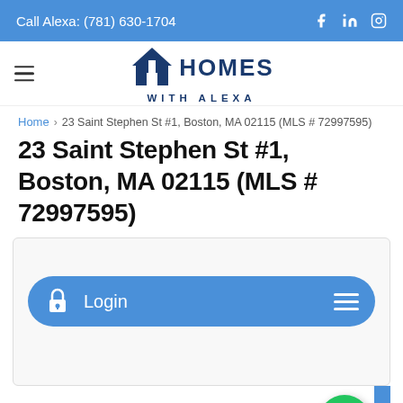Call Alexa: (781) 630-1704
[Figure (logo): Homes With Alexa logo with house icon and text HOMES WITH ALEXA]
Home > 23 Saint Stephen St #1, Boston, MA 02115 (MLS # 72997595)
23 Saint Stephen St #1, Boston, MA 02115 (MLS # 72997595)
[Figure (screenshot): Login button with lock icon and hamburger menu icon on blue rounded background]